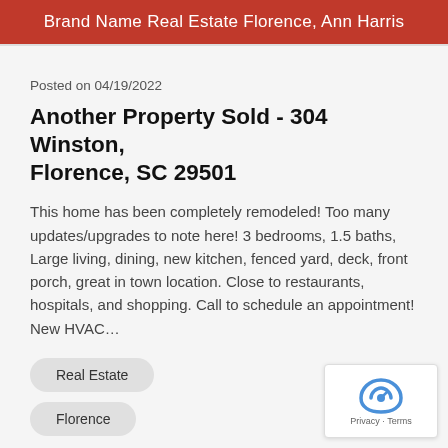Brand Name Real Estate Florence, Ann Harris
Posted on 04/19/2022
Another Property Sold - 304 Winston, Florence, SC 29501
This home has been completely remodeled! Too many updates/upgrades to note here! 3 bedrooms, 1.5 baths, Large living, dining, new kitchen, fenced yard, deck, front porch, great in town location. Close to restaurants, hospitals, and shopping. Call to schedule an appointment! New HVAC…
Real Estate
Florence
+ 2 more